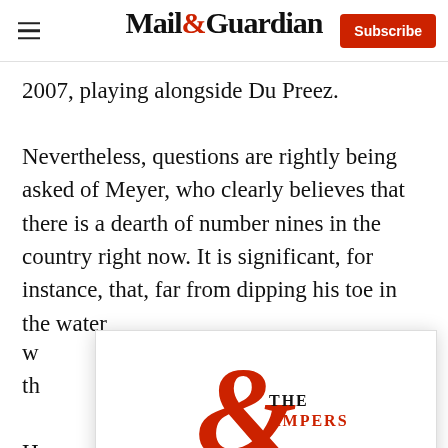Mail&Guardian — Subscribe
2007, playing alongside Du Preez.
Nevertheless, questions are rightly being asked of Meyer, who clearly believes that there is a dearth of number nines in the country right now. It is significant, for instance, that, far from dipping his toe in the water
[Figure (logo): The Ampersand newsletter logo — large red ampersand with 'THE AMPERSAND' text beside it, tagline 'Stay informed. Every weekday.' and an E-mail Address input field below]